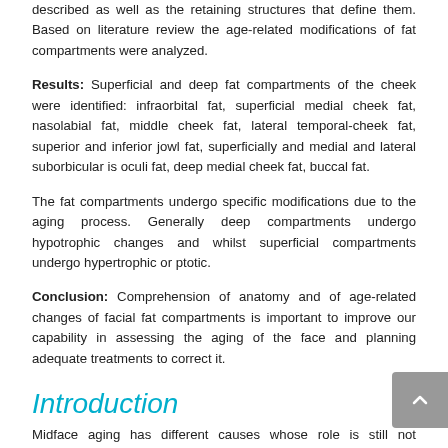described as well as the retaining structures that define them. Based on literature review the age-related modifications of fat compartments were analyzed.
Results: Superficial and deep fat compartments of the cheek were identified: infraorbital fat, superficial medial cheek fat, nasolabial fat, middle cheek fat, lateral temporal-cheek fat, superior and inferior jowl fat, superficially and medial and lateral suborbicular is oculi fat, deep medial cheek fat, buccal fat.
The fat compartments undergo specific modifications due to the aging process. Generally deep compartments undergo hypotrophic changes and whilst superficial compartments undergo hypertrophic or ptotic.
Conclusion: Comprehension of anatomy and of age-related changes of facial fat compartments is important to improve our capability in assessing the aging of the face and planning adequate treatments to correct it.
Introduction
Midface aging has different causes whose role is still not completely